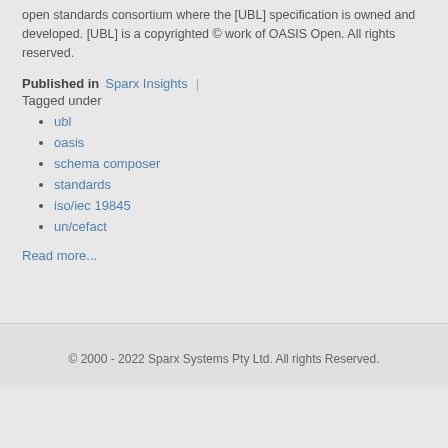open standards consortium where the [UBL] specification is owned and developed. [UBL] is a copyrighted © work of OASIS Open. All rights reserved.
Published in  Sparx Insights  |
Tagged under
ubl
oasis
schema composer
standards
iso/iec 19845
un/cefact
Read more...
© 2000 - 2022 Sparx Systems Pty Ltd. All rights Reserved.